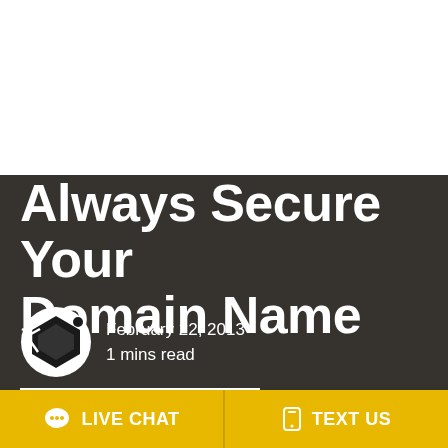[Figure (logo): Black hexagon/gem logo with a small dot, site logo top left]
[Figure (infographic): 3x3 grid of golden/amber rounded squares, top right corner]
Always Secure Your Domain Name
February 22, 2013
1 mins read
A recent Mashable article got us laughing, and reminded us that the
LIVE CHAT
TEXT US